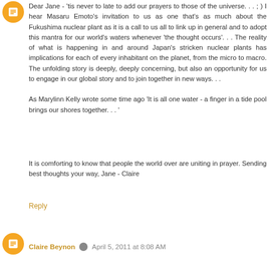[Figure (illustration): Orange circular avatar with blogger icon, top-left of first comment]
Dear Jane - 'tis never to late to add our prayers to those of the universe. . . ; ) I hear Masaru Emoto's invitation to us as one that's as much about the Fukushima nuclear plant as it is a call to us all to link up in general and to adopt this mantra for our world's waters whenever 'the thought occurs'. . . The reality of what is happening in and around Japan's stricken nuclear plants has implications for each of every inhabitant on the planet, from the micro to macro. The unfolding story is deeply, deeply concerning, but also an opportunity for us to engage in our global story and to join together in new ways. . .
As Marylinn Kelly wrote some time ago 'It is all one water - a finger in a tide pool brings our shores together. . . '
It is comforting to know that people the world over are uniting in prayer. Sending best thoughts your way, Jane - Claire
Reply
[Figure (illustration): Orange circular avatar with blogger icon, for Claire Beynon comment]
Claire Beynon  April 5, 2011 at 8:08 AM